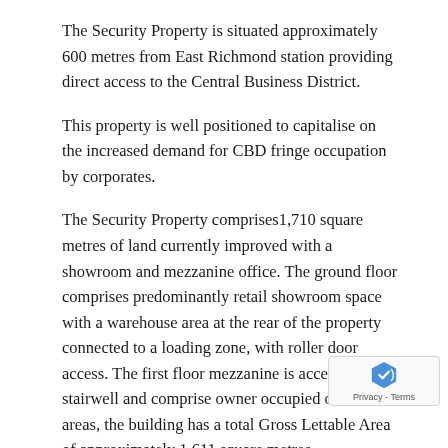The Security Property is situated approximately 600 metres from East Richmond station providing direct access to the Central Business District.
This property is well positioned to capitalise on the increased demand for CBD fringe occupation by corporates.
The Security Property comprises1,710 square metres of land currently improved with a showroom and mezzanine office. The ground floor comprises predominantly retail showroom space with a warehouse area at the rear of the property connected to a loading zone, with roller door access. The first floor mezzanine is accessed via a stairwell and comprise owner occupied office areas, the building has a total Gross Lettable Area of approximately 1,611 square metres.
Security Property is subject to a lease expiring 31 Janu… 2023